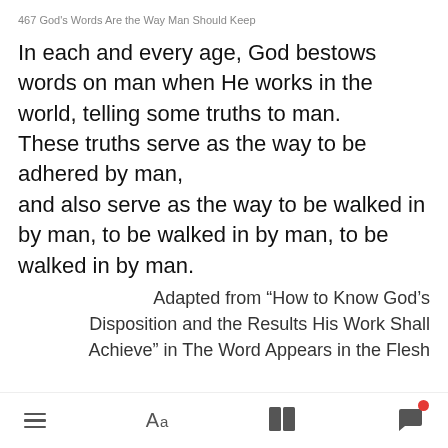467 God's Words Are the Way Man Should Keep
In each and every age, God bestows words on man when He works in the world, telling some truths to man.
These truths serve as the way to be adhered by man,
and also serve as the way to be walked in by man, to be walked in by man, to be walked in by man.
Adapted from “How to Know God’s Disposition and the Results His Work Shall Achieve” in The Word Appears in the Flesh